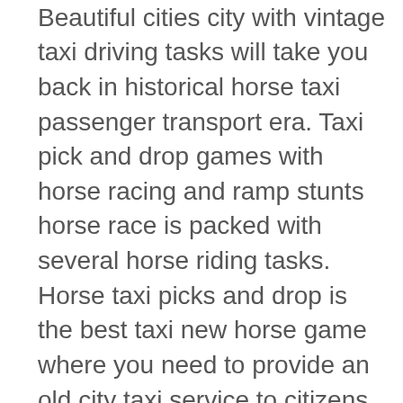modern horse carriage cab Beautiful cities city with vintage taxi driving tasks will take you back in historical horse taxi passenger transport era. Taxi pick and drop games with horse racing and ramp stunts horse race is packed with several horse riding tasks. Horse taxi picks and drop is the best taxi new horse game where you need to provide an old city taxi service to citizens requesting a ride in new horse games 2021. Yet another horse cart taxi driving tourist transport duty is waiting for you to download the modern ways of horse cart taxi cab fun on crazy zigzag roads. City taxi horse game has a whole new level by adding unique gameplay. Complete your horse riding as an amazing horse cart taxi driver without collide into other vehicles for a safe ride